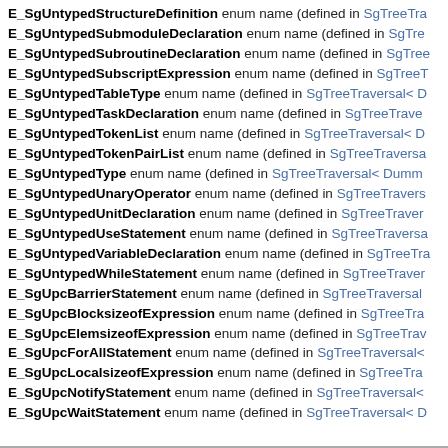E_SgUntypedStructureDefinition enum name (defined in SgTreeTra…)
E_SgUntypedSubmoduleDeclaration enum name (defined in SgTre…)
E_SgUntypedSubroutineDeclaration enum name (defined in SgTree…)
E_SgUntypedSubscriptExpression enum name (defined in SgTreeT…)
E_SgUntypedTableType enum name (defined in SgTreeTraversal< D…)
E_SgUntypedTaskDeclaration enum name (defined in SgTreeTrave…)
E_SgUntypedTokenList enum name (defined in SgTreeTraversal< D…)
E_SgUntypedTokenPairList enum name (defined in SgTreeTraversa…)
E_SgUntypedType enum name (defined in SgTreeTraversal< Dumm…)
E_SgUntypedUnaryOperator enum name (defined in SgTreeTravers…)
E_SgUntypedUnitDeclaration enum name (defined in SgTreeTraver…)
E_SgUntypedUseStatement enum name (defined in SgTreeTraversa…)
E_SgUntypedVariableDeclaration enum name (defined in SgTreeTra…)
E_SgUntypedWhileStatement enum name (defined in SgTreeTraver…)
E_SgUpcBarrierStatement enum name (defined in SgTreeTraversal…)
E_SgUpcBlocksizeofExpression enum name (defined in SgTreeTra…)
E_SgUpcElemsizeofExpression enum name (defined in SgTreeTrav…)
E_SgUpcForAllStatement enum name (defined in SgTreeTraversal<…)
E_SgUpcLocalsizeofExpression enum name (defined in SgTreeTra…)
E_SgUpcNotifyStatement enum name (defined in SgTreeTraversal<…)
E_SgUpcWaitStatement enum name (defined in SgTreeTraversal< D…)